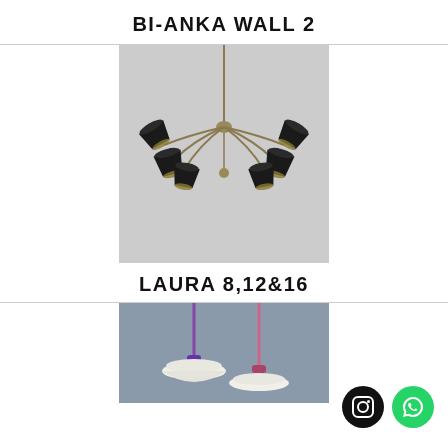BI-ANKA WALL 2
[Figure (photo): Chandelier with multiple black lampshades and brass/gold arms on a light grey background]
LAURA 8,12&16
[Figure (photo): Two pendant lights with flat white disc shades hanging from purple and pink cords against a blue-grey background]
[Figure (logo): Instagram icon (black circle) and WhatsApp icon (green circle) social media buttons]